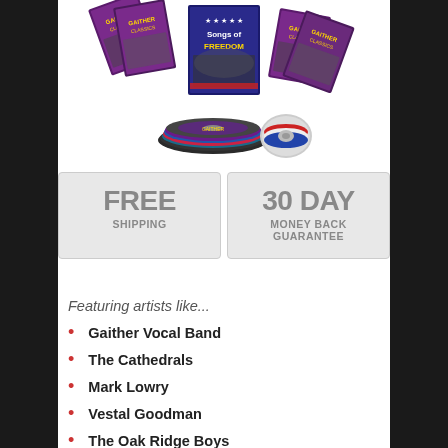[Figure (photo): Collection of Gaither Classics DVD/CD sets fanned out, including a 'Songs of Freedom' title and multiple Gaither Classics titles with colorful disc collection in foreground]
[Figure (infographic): Two grey badge boxes side by side: left says FREE SHIPPING, right says 30 DAY MONEY BACK GUARANTEE]
Featuring artists like...
Gaither Vocal Band
The Cathedrals
Mark Lowry
Vestal Goodman
The Oak Ridge Boys